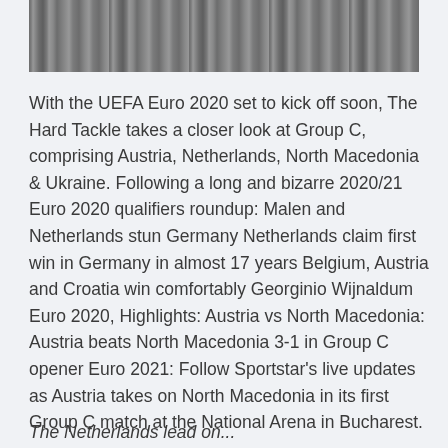[Figure (photo): Black and white photograph strip at the top of the page, appearing to show vertical streaks or forest/nature scene]
With the UEFA Euro 2020 set to kick off soon, The Hard Tackle takes a closer look at Group C, comprising Austria, Netherlands, North Macedonia & Ukraine. Following a long and bizarre 2020/21 Euro 2020 qualifiers roundup: Malen and Netherlands stun Germany Netherlands claim first win in Germany in almost 17 years Belgium, Austria and Croatia win comfortably Georginio Wijnaldum Euro 2020, Highlights: Austria vs North Macedonia: Austria beats North Macedonia 3-1 in Group C opener Euro 2021: Follow Sportstar's live updates as Austria takes on North Macedonia in its first Group C match at the National Arena in Bucharest.
The Netherlands lead on...